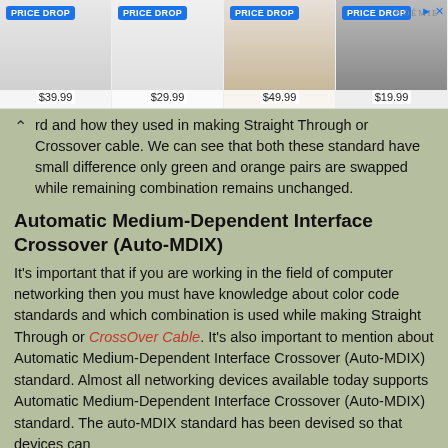[Figure (screenshot): Advertisement banner showing four product images with 'PRICE DROP' badges and prices: $39.99, $29.99, $49.99, $19.99. NOÉMIE brand logo visible top right.]
rd and how they used in making Straight Through or Crossover cable. We can see that both these standard have small difference only green and orange pairs are swapped while remaining combination remains unchanged.
Automatic Medium-Dependent Interface Crossover (Auto-MDIX)
It's important that if you are working in the field of computer networking then you must have knowledge about color code standards and which combination is used while making Straight Through or CrossOver Cable. It's also important to mention about Automatic Medium-Dependent Interface Crossover (Auto-MDIX) standard. Almost all networking devices available today supports Automatic Medium-Dependent Interface Crossover (Auto-MDIX) standard. The auto-MDIX standard has been devised so that devices can